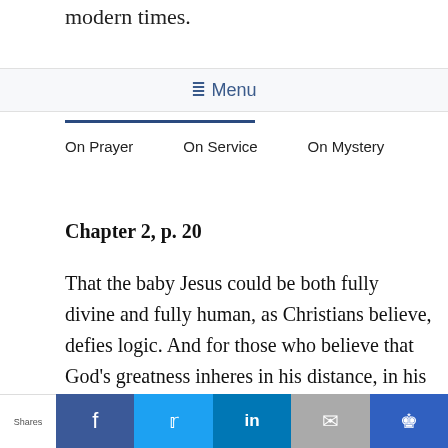modern times.
≡ Menu
On Prayer
On Service
On Mystery
Chapter 2, p. 20
That the baby Jesus could be both fully divine and fully human, as Christians believe, defies logic. And for those who believe that God's greatness inheres in his distance, in his difference from us,
Shares  f  t  in  [mail]  [crown]